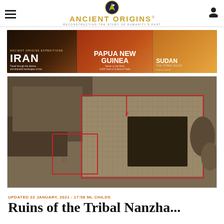Ancient Origins — Reconstructing the story of humanity's past
[Figure (screenshot): Ancient Origins Expeditions banner advertisement showing three destinations: IRAN, PAPUA NEW GUINEA, and SUDAN with travel photography backgrounds]
[Figure (photo): Aerial/drone photograph of an ancient archaeological site showing stone ruins with red outline markings delineating excavated areas and mosaic floors]
UPDATED 22 JANUARY, 2021 - 17:58 ML CHILDS
Ruins of the Tribal Nanzha...